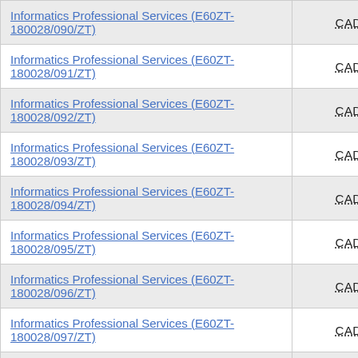|  |  |
| --- | --- |
| Informatics Professional Services (E60ZT-180028/090/ZT) | CAD 0.00 |
| Informatics Professional Services (E60ZT-180028/091/ZT) | CAD 0.00 |
| Informatics Professional Services (E60ZT-180028/092/ZT) | CAD 0.00 |
| Informatics Professional Services (E60ZT-180028/093/ZT) | CAD 0.00 |
| Informatics Professional Services (E60ZT-180028/094/ZT) | CAD 0.00 |
| Informatics Professional Services (E60ZT-180028/095/ZT) | CAD 0.00 |
| Informatics Professional Services (E60ZT-180028/096/ZT) | CAD 0.00 |
| Informatics Professional Services (E60ZT-180028/097/ZT) | CAD 0.00 |
| Informatics Professional Services (E60ZT-180028/098/ZT) | CAD 0.00 |